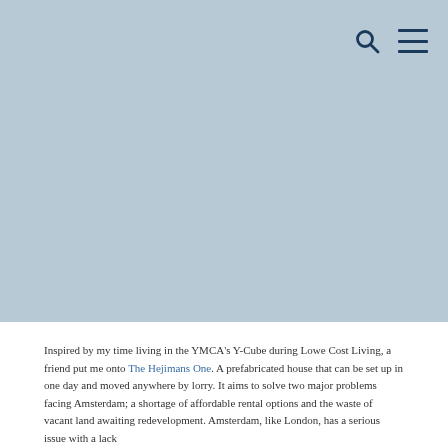[Figure (photo): Large hero image placeholder with a light steel blue/grey background color, representing a photograph. Navigation icons (search and hamburger menu) appear in the top-right corner.]
Inspired by my time living in the YMCA's Y-Cube during Lowe Cost Living, a friend put me onto The Hejimans One. A prefabricated house that can be set up in one day and moved anywhere by lorry. It aims to solve two major problems facing Amsterdam; a shortage of affordable rental options and the waste of vacant land awaiting redevelopment. Amsterdam, like London, has a serious issue with a lack